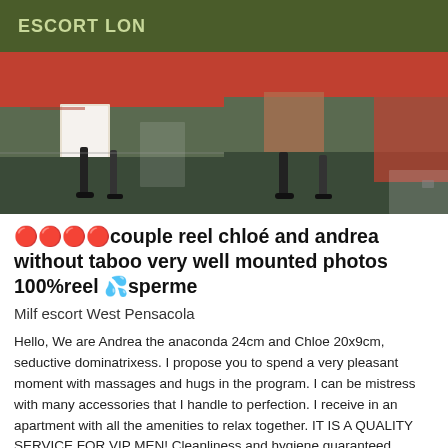ESCORT LON
[Figure (photo): Two side-by-side photos showing legs of women in red outfits and heels in an indoor setting with teal carpet and white furniture.]
🔴🔴🔴🔴couple reel chloé and andrea without taboo very well mounted photos 100%reel 💦sperme
Milf escort West Pensacola
Hello, We are Andrea the anaconda 24cm and Chloe 20x9cm, seductive dominatrixess. I propose you to spend a very pleasant moment with massages and hugs in the program. I can be mistress with many accessories that I handle to perfection. I receive in an apartment with all the amenities to relax together. IT IS A QUALITY SERVICE FOR VIP MEN! Cleanliness and hygiene guaranteed. Playful, cuddly, submissive and